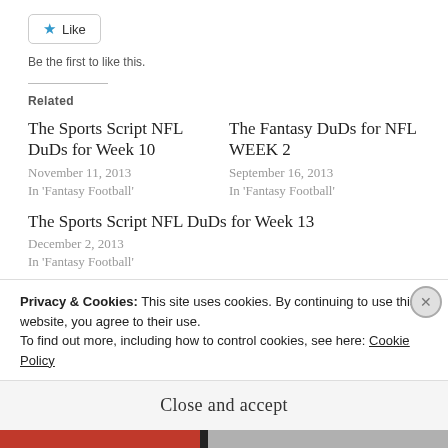[Figure (other): Like button with blue star icon and border]
Be the first to like this.
Related
The Sports Script NFL DuDs for Week 10
November 11, 2013
In 'Fantasy Football'
The Fantasy DuDs for NFL WEEK 2
September 16, 2013
In 'Fantasy Football'
The Sports Script NFL DuDs for Week 13
December 2, 2013
In 'Fantasy Football'
Privacy & Cookies: This site uses cookies. By continuing to use this website, you agree to their use.
To find out more, including how to control cookies, see here: Cookie Policy
Close and accept